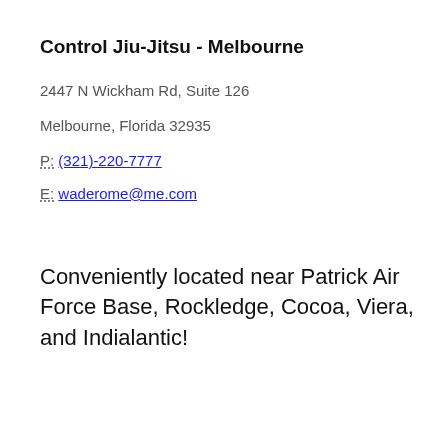Control Jiu-Jitsu - Melbourne
2447 N Wickham Rd, Suite 126
Melbourne, Florida 32935
P: (321)-220-7777
E: waderome@me.com
Conveniently located near Patrick Air Force Base, Rockledge, Cocoa, Viera, and Indialantic!